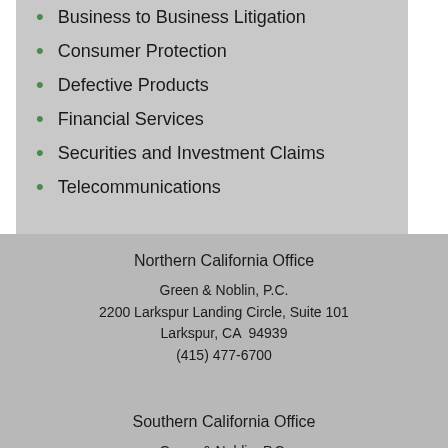Business to Business Litigation
Consumer Protection
Defective Products
Financial Services
Securities and Investment Claims
Telecommunications
Northern California Office
Green & Noblin, P.C.
2200 Larkspur Landing Circle, Suite 101
Larkspur, CA  94939
(415) 477-6700
Southern California Office
Green & Noblin, P.C.
4500 E. Pacific Coast Highway, 4th Floor
Long Beach, CA  90804
(415) 477-6700